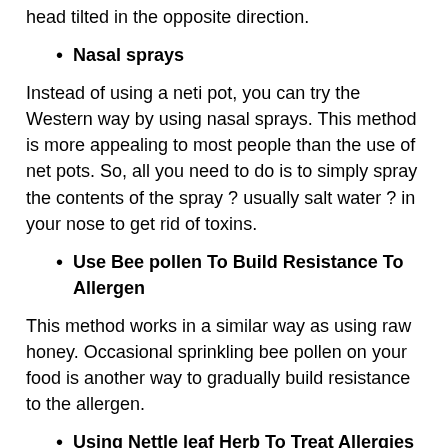head tilted in the opposite direction.
Nasal sprays
Instead of using a neti pot, you can try the Western way by using nasal sprays. This method is more appealing to most people than the use of net pots. So, all you need to do is to simply spray the contents of the spray ? usually salt water ? in your nose to get rid of toxins.
Use Bee pollen To Build Resistance To Allergen
This method works in a similar way as using raw honey. Occasional sprinkling bee pollen on your food is another way to gradually build resistance to the allergen.
Using Nettle leaf Herb To Treat Allergies
Nettle leaf can also be used for treating allergies due to its antihistamine property. Nettle leaf can be processed for tea and consumed as a remedy for allergy symptoms. It can also be combined with other herbs such as peppermint leaf to get better